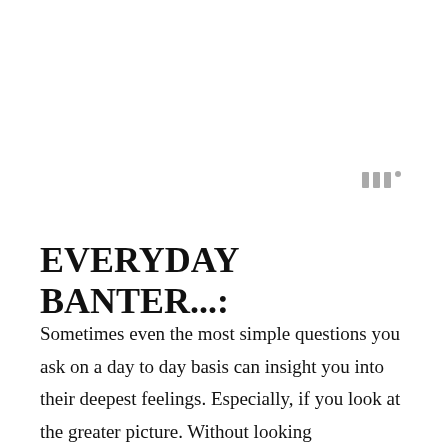[Figure (logo): Small stylized logo mark consisting of three vertical bar strokes with a small superscript circle, rendered in gray]
EVERYDAY BANTER...:
Sometimes even the most simple questions you ask on a day to day basis can insight you into their deepest feelings. Especially, if you look at the greater picture. Without looking